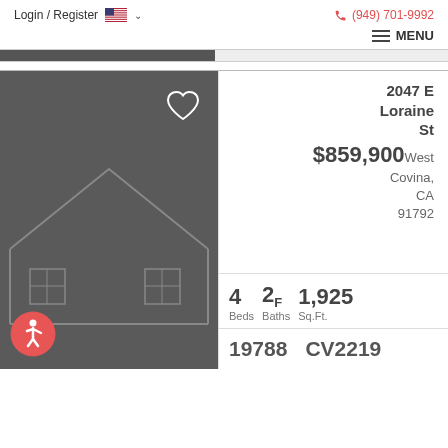Login / Register  🇺🇸 ▾   (949) 701-9992
≡ MENU
[Figure (screenshot): Dark gray listing photo of a house exterior with a heart/favorite icon in the top right and a wheelchair accessibility icon in the bottom left.]
2047 E Loraine St
$859,900
West Covina, CA 91792
4 Beds  2F Baths  1,925 Sq.Ft.
19783   CV2219